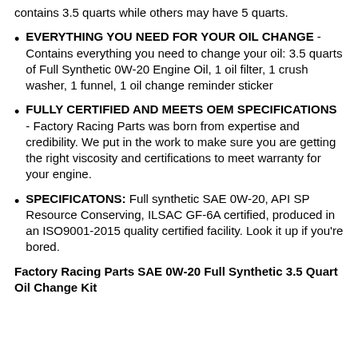contains 3.5 quarts while others may have 5 quarts.
EVERYTHING YOU NEED FOR YOUR OIL CHANGE - Contains everything you need to change your oil: 3.5 quarts of Full Synthetic 0W-20 Engine Oil, 1 oil filter, 1 crush washer, 1 funnel, 1 oil change reminder sticker
FULLY CERTIFIED AND MEETS OEM SPECIFICATIONS - Factory Racing Parts was born from expertise and credibility. We put in the work to make sure you are getting the right viscosity and certifications to meet warranty for your engine.
SPECIFICATONS: Full synthetic SAE 0W-20, API SP Resource Conserving, ILSAC GF-6A certified, produced in an ISO9001-2015 quality certified facility. Look it up if you're bored.
Factory Racing Parts SAE 0W-20 Full Synthetic 3.5 Quart Oil Change Kit